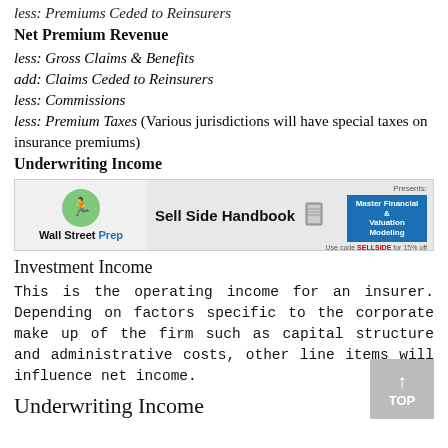less: Premiums Ceded to Reinsurers
Net Premium Revenue
less: Gross Claims & Benefits
add: Claims Ceded to Reinsurers
less: Commissions
less: Premium Taxes (Various jurisdictions will have special taxes on insurance premiums)
Underwriting Income
[Figure (logo): Wall Street Prep advertisement banner: Sell Side Handbook - Master Financial & Valuation Modeling. Use code SELLSIDE for 15% off]
Investment Income
This is the operating income for an insurer. Depending on factors specific to the corporate make up of the firm such as capital structure and administrative costs, other line items will influence net income.
Underwriting Income